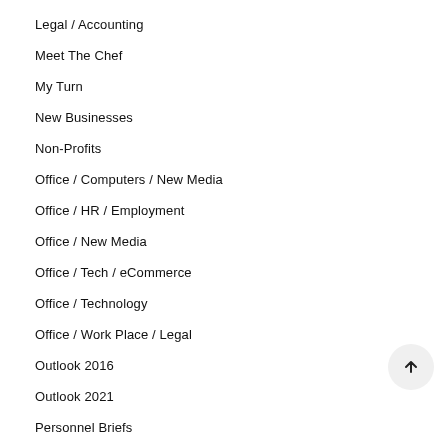Legal / Accounting
Meet The Chef
My Turn
New Businesses
Non-Profits
Office / Computers / New Media
Office / HR / Employment
Office / New Media
Office / Tech / eCommerce
Office / Technology
Office / Work Place / Legal
Outlook 2016
Outlook 2021
Personnel Briefs
Retirement Planning
Senior Living / Retirement